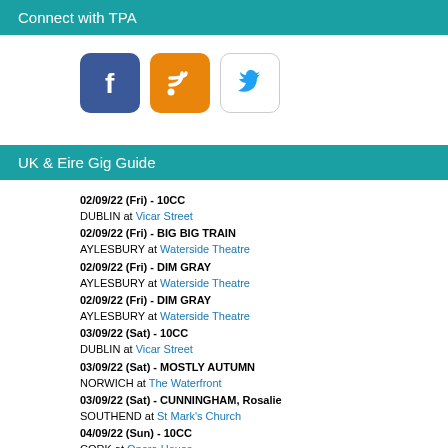Connect with TPA
[Figure (other): Three social media icons: Facebook (blue rounded square), RSS (orange rounded square), Twitter (white rounded square with blue bird)]
UK & Eire Gig Guide
02/09/22 (Fri) - 10CC
DUBLIN at Vicar Street
02/09/22 (Fri) - BIG BIG TRAIN
AYLESBURY at Waterside Theatre
02/09/22 (Fri) - DIM GRAY
AYLESBURY at Waterside Theatre
02/09/22 (Fri) - DIM GRAY
AYLESBURY at Waterside Theatre
03/09/22 (Sat) - 10CC
DUBLIN at Vicar Street
03/09/22 (Sat) - MOSTLY AUTUMN
NORWICH at The Waterfront
03/09/22 (Sat) - CUNNINGHAM, Rosalie
SOUTHEND at St Mark's Church
04/09/22 (Sun) - 10CC
CORK at Opera House
04/09/22 (Sun) - HRH Prog (Event)